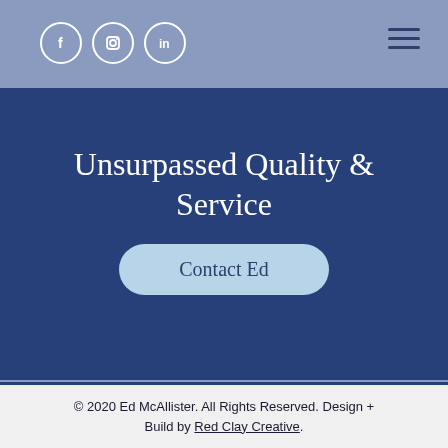[Figure (screenshot): Navigation bar with social media icons (Facebook, Instagram, LinkedIn) and hamburger menu]
Unsurpassed Quality & Service
Contact Ed
© 2020 Ed McAllister. All Rights Reserved. Design + Build by Red Clay Creative.